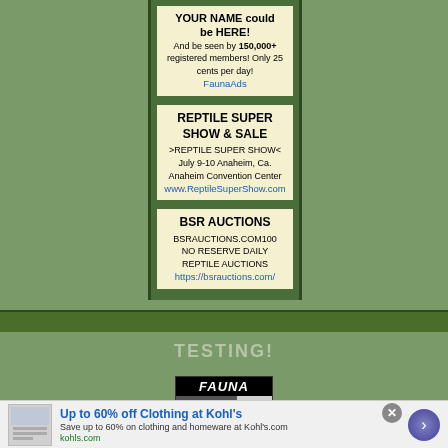[Figure (infographic): FaunaAds advertisement box: YOUR NAME could be HERE! And be seen by 150,000+ registered members! Only 25 cents per day! FaunaAds]
[Figure (infographic): Reptile Super Show & Sale advertisement: REPTILE SUPER SHOW & SALE >REPTILE SUPER SHOW< July 9-10 Anaheim, Ca. Anaheim Convention Center www.ReptileSuperShow.com]
[Figure (infographic): BSR Auctions advertisement: BSR AUCTIONS BSRAUCTIONS.COM100 NO RESERVE DAILY REPTILE AUCTIONS https://bsrauctions.com/]
TESTING!
[Figure (logo): FAUNA Topsites banner with rank number 1]